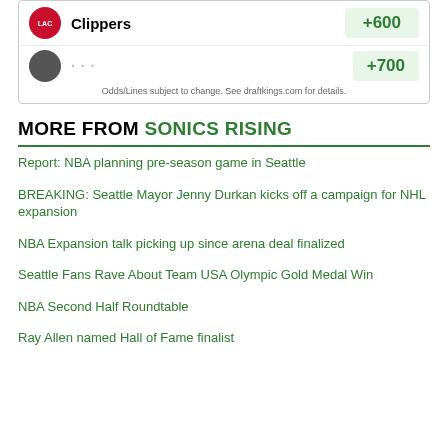[Figure (other): Sports betting widget showing LA Clippers with +600 odds and a partially visible second team row with +700 odds, with a disclaimer about odds/lines subject to change from draftkings.com]
MORE FROM SONICS RISING
Report: NBA planning pre-season game in Seattle
BREAKING: Seattle Mayor Jenny Durkan kicks off a campaign for NHL expansion
NBA Expansion talk picking up since arena deal finalized
Seattle Fans Rave About Team USA Olympic Gold Medal Win
NBA Second Half Roundtable
Ray Allen named Hall of Fame finalist